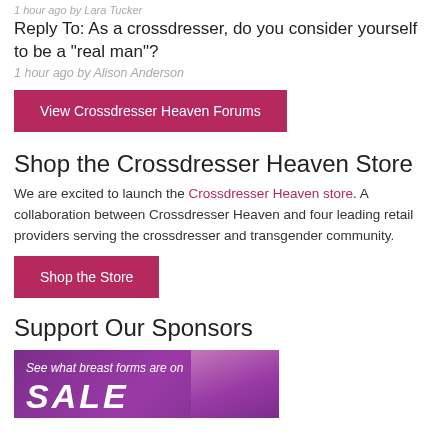1 hour ago by Lara Tucker
Reply To: As a crossdresser, do you consider yourself to be a “real man”?
1 hour ago by Alison Anderson
[Figure (other): Button: View Crossdresser Heaven Forums (pink/magenta background)]
Shop the Crossdresser Heaven Store
We are excited to launch the Crossdresser Heaven store. A collaboration between Crossdresser Heaven and four leading retail providers serving the crossdresser and transgender community.
[Figure (other): Button: Shop the Store (pink/magenta background)]
Support Our Sponsors
[Figure (photo): Purple banner ad: See what breast forms are on SALE, with a woman posing on the right side]